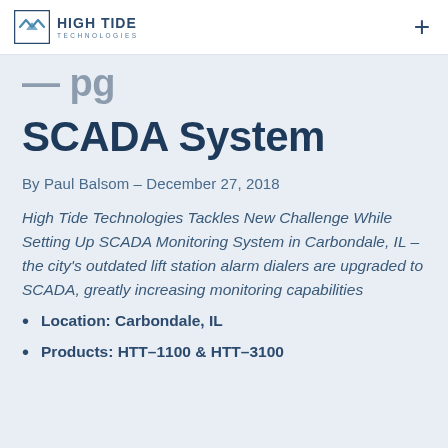HIGH TIDE TECHNOLOGIES
SCADA System
By Paul Balsom – December 27, 2018
High Tide Technologies Tackles New Challenge While Setting Up SCADA Monitoring System in Carbondale, IL – the city's outdated lift station alarm dialers are upgraded to SCADA, greatly increasing monitoring capabilities
Location: Carbondale, IL
Products: HTT-1100 & HTT-3100